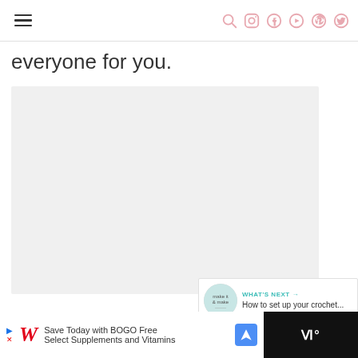Navigation header with hamburger menu and social icons (search, Instagram, Facebook, YouTube, Pinterest, Twitter)
everyone for you.
[Figure (other): Large light gray rectangular content placeholder area]
[Figure (infographic): Floating action buttons: teal heart button, count badge showing 7, share button]
WHAT'S NEXT → How to set up your crochet...
[Figure (infographic): Advertisement bar: Walgreens logo, Save Today with BOGO Free, Select Supplements and Vitamins]